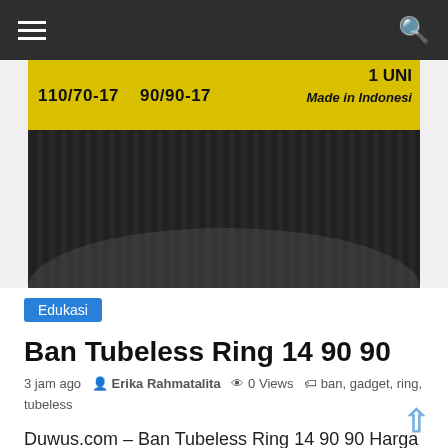Navigation bar with hamburger menu and search icon
[Figure (photo): Close-up photo of a tire/tyre with yellow label showing '110/70-17  90/90-17' and '1 UNI', 'Made in Indonesia' text, with dark rubber tread visible below]
Edukasi
Ban Tubeless Ring 14 90 90
3 jam ago   Erika Rahmatalita   0 Views   ban, gadget, ring, tubeless
Duwus.com – Ban Tubeless Ring 14 90 90 Harga Ban Swallow 100 90 Ring 17. MT X Trail harga ban